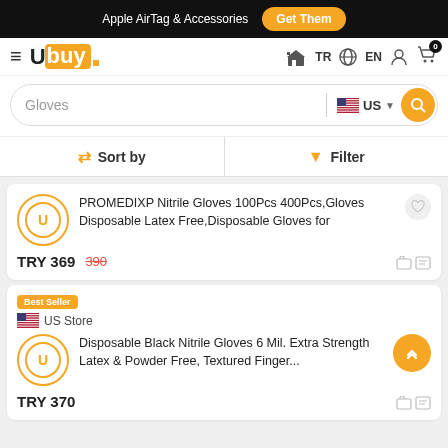Apple AirTag & Accessories  Get Them
[Figure (logo): Ubuy logo with orange background square]
TR  EN
Gloves  US
Sort by  Filter
PROMEDIXP Nitrile Gloves 100Pcs 400Pcs,Gloves Disposable Latex Free,Disposable Gloves for
TRY 369  390
Best Seller
US Store
Disposable Black Nitrile Gloves 6 Mil. Extra Strength Latex & Powder Free, Textured Finger...
TRY 370